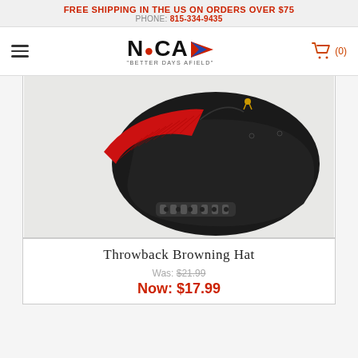FREE SHIPPING IN THE US ON ORDERS OVER $75
PHONE: 815-334-9435
[Figure (logo): NiCA logo with tagline 'BETTER DAYS AFIELD' and cart icon with (0)]
[Figure (photo): Throwback Browning Hat - black cap with red brim shown from the back/side angle]
Throwback Browning Hat
Was: $21.99
Now: $17.99